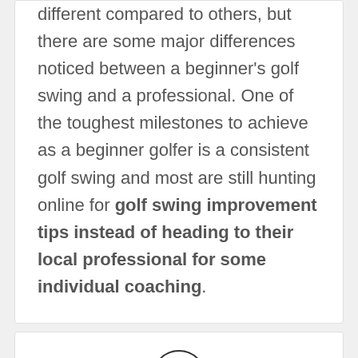different compared to others, but there are some major differences noticed between a beginner's golf swing and a professional. One of the toughest milestones to achieve as a beginner golfer is a consistent golf swing and most are still hunting online for golf swing improvement tips instead of heading to their local professional for some individual coaching.
[Figure (illustration): A circular icon with a document/file symbol inside]
Incredible Moments in History of Golf